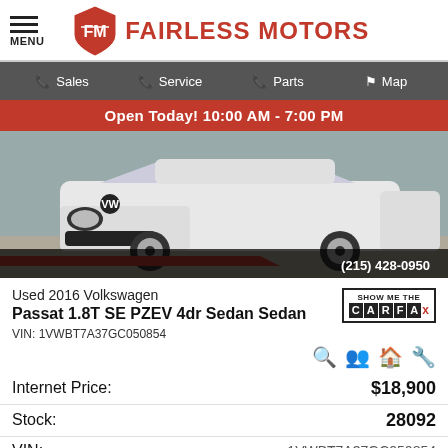MENU | FAIRLESS MOTORS
Sales | Service | Parts | Map
Open Today! 10:00 AM - 7:00 PM
[Figure (photo): White 2016 Volkswagen Passat sedan, front 3/4 view, with phone number (215) 428-0950 overlaid]
Used 2016 Volkswagen
Passat 1.8T SE PZEV 4dr Sedan Sedan
VIN: 1VWBT7A37GC050854
[Figure (logo): Show Me The CARFAX logo box]
Internet Price: $18,900
Stock: 28092
VIN: 1VWBT7A37GC050854